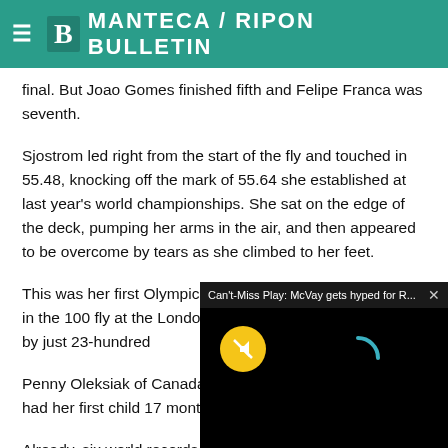Manteca / Ripon Bulletin
final. But Joao Gomes finished fifth and Felipe Franca was seventh.
Sjostrom led right from the start of the fly and touched in 55.48, knocking off the mark of 55.64 she established at last year's world championships. She sat on the edge of the deck, pumping her arms in the air, and then appeared to be overcome by tears as she climbed to her feet.
This was her first Olympic medal. Sjostrom finished fourth in the 100 fly at the London Gam... bronze by just 23-hundred...
[Figure (screenshot): Video overlay popup with title "Can't-Miss Play: McVay gets hyped for R..." with a black video player area, yellow muted button, and loading spinner]
Penny Oleksiak of Canada... defending Olympic champ... had her first child 17 mont...
Already, six world records...